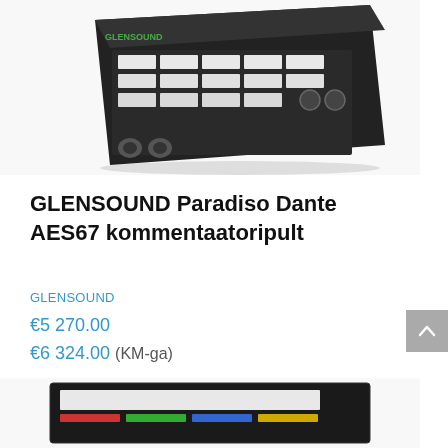[Figure (photo): A black rack-mount audio equipment unit, GLENSOUND Paradiso Dante AES67 commentary panel, angled view showing top and front with multiple labeled buttons/faders and XLR connectors.]
GLENSOUND Paradiso Dante AES67 kommentaatoripult
GLENSOUND
€5 270.00
€6 324.00 (KM-ga)
[Figure (photo): A black rack-mount audio panel, partially visible at the bottom of the page, showing the front face with controls.]